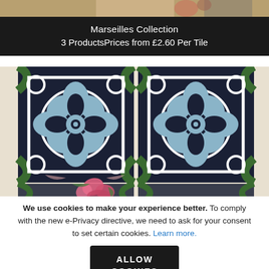[Figure (photo): Top strip showing partial view of decorative tile or fabric with warm tones]
Marseilles Collection
3 ProductsPrices from £2.60 Per Tile
[Figure (photo): Close-up photograph of Marseilles decorative cement tiles arranged in a 2x2 grid pattern. Tiles feature intricate geometric and floral motifs in dark navy, light blue, green, white and pink/beige colors. Pink flowers visible at the bottom.]
We use cookies to make your experience better. To comply with the new e-Privacy directive, we need to ask for your consent to set certain cookies. Learn more.
ALLOW COOKIES